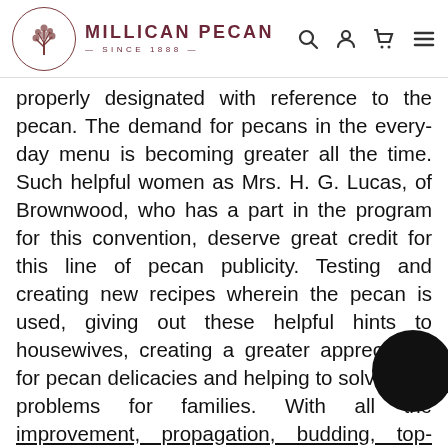MILLICAN PECAN — SINCE 1888 [logo, search, account, cart, menu icons]
properly designated with reference to the pecan. The demand for pecans in the every-day menu is becoming greater all the time. Such helpful women as Mrs. H. G. Lucas, of Brownwood, who has a part in the program for this convention, deserve great credit for this line of pecan publicity. Testing and creating new recipes wherein the pecan is used, giving out these helpful hints to housewives, creating a greater appreciation for pecan delicacies and helping to solve food problems for families. With all the improvement, propagation, budding, top-working, grafting, setting new acreage and enlarging the pecan industry, and with the publicity for pecans